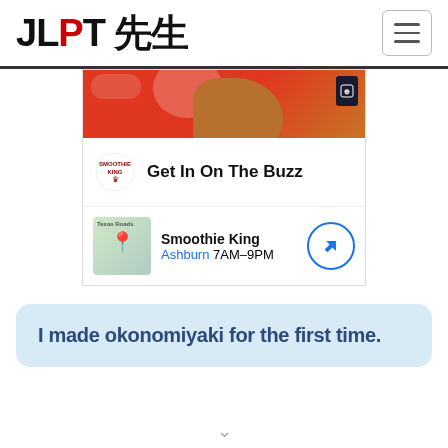JLPT 先生
[Figure (screenshot): Smoothie King advertisement with red background top image, Smoothie King logo with 'Get In On The Buzz' headline, and map showing Smoothie King in Ashburn 7AM-9PM with navigation icon]
I made okonomiyaki for the first time.